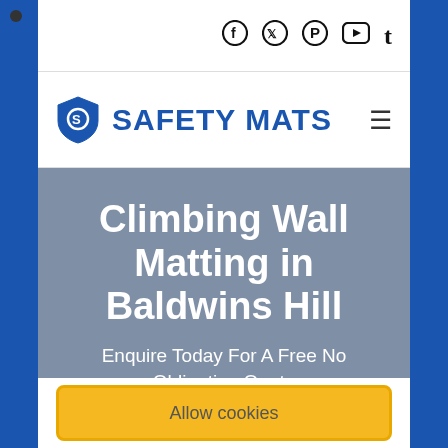[Figure (logo): Safety Mats logo with shield icon and bold blue text]
Climbing Wall Matting in Baldwins Hill
Enquire Today For A Free No Obligation Quote
Allow cookies